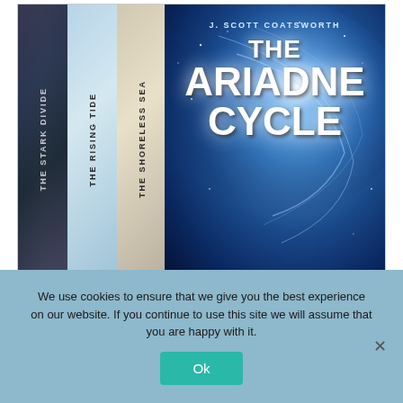[Figure (illustration): Book box set image showing spines of 'The Stark Divide', 'The Rising Tide', 'The Shoreless Sea', and front cover of 'The Ariadne Cycle' by J. Scott Coatsworth, with cosmic/space background art]
We use cookies to ensure that we give you the best experience on our website. If you continue to use this site we will assume that you are happy with it.
Ok